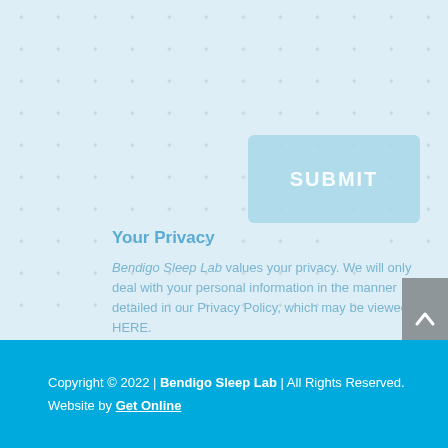[Figure (screenshot): Submit button (light blue rounded rectangle with SUBMIT text in white)]
Your Privacy
Bendigo Sleep Lab values your privacy. We will only deal with your personal information in the manner detailed in our Privacy Policy, which may be viewed HERE.
[Figure (other): Scroll-to-top button (grey rectangle with upward chevron arrow)]
Copyright © 2022 | Bendigo Sleep Lab | All Rights Reserved. Website by Get Online